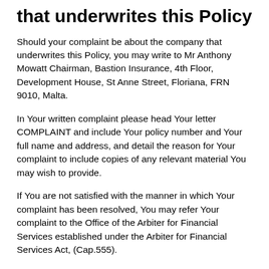that underwrites this Policy
Should your complaint be about the company that underwrites this Policy, you may write to Mr Anthony Mowatt Chairman, Bastion Insurance, 4th Floor, Development House, St Anne Street, Floriana, FRN 9010, Malta.
In Your written complaint please head Your letter COMPLAINT and include Your policy number and Your full name and address, and detail the reason for Your complaint to include copies of any relevant material You may wish to provide.
If You are not satisfied with the manner in which Your complaint has been resolved, You may refer Your complaint to the Office of the Arbiter for Financial Services established under the Arbiter for Financial Services Act, (Cap.555).
Following these procedures will not affect your right to take